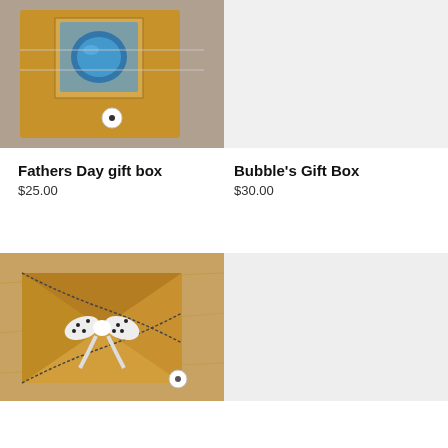[Figure (photo): Kraft cardboard gift box with clear window showing a blue bath bomb, tied with white string and a small round label, placed on gray concrete surface.]
Fathers Day gift box
$25.00
[Figure (photo): Light gray placeholder image for Bubble's Gift Box product.]
Bubble's Gift Box
$30.00
[Figure (photo): Kraft paper envelope-style gift box with polka dot bow ribbon and a small round sticker label, placed on kraft paper background.]
[Figure (photo): Light gray placeholder image for a fourth product.]